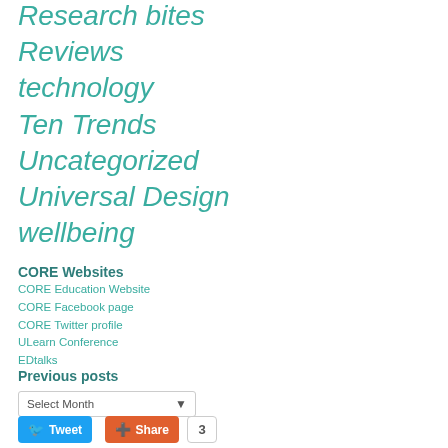Research bites
Reviews
technology
Ten Trends
Uncategorized
Universal Design
wellbeing
CORE Websites
CORE Education Website
CORE Facebook page
CORE Twitter profile
ULearn Conference
EDtalks
Previous posts
Select Month
Tweet  Share  3